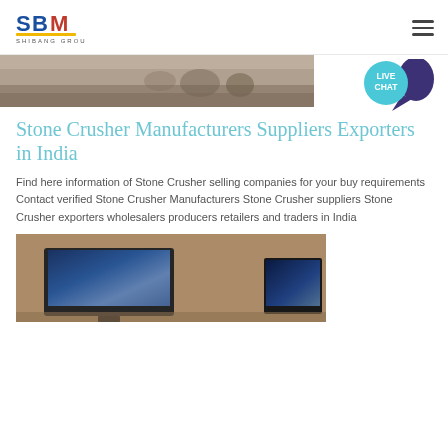SBM Shibang Group logo and navigation menu
[Figure (photo): Top image showing outdoor stone crusher site/construction area, partially cropped]
[Figure (infographic): Live Chat badge - teal circle with LIVE CHAT text and speech bubble icon in dark purple]
Stone Crusher Manufacturers Suppliers Exporters in India
Find here information of Stone Crusher selling companies for your buy requirements Contact verified Stone Crusher Manufacturers Stone Crusher suppliers Stone Crusher exporters wholesalers producers retailers and traders in India
[Figure (photo): Photo showing computer monitors displaying stone crusher facility monitoring screens, in an indoor setting with brown/tan walls]